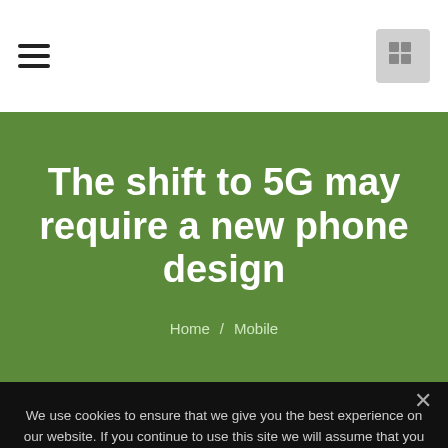≡  [grid icon]
The shift to 5G may require a new phone design
Home / Mobile
We use cookies to ensure that we give you the best experience on our website. If you continue to use this site we will assume that you are happy with it.